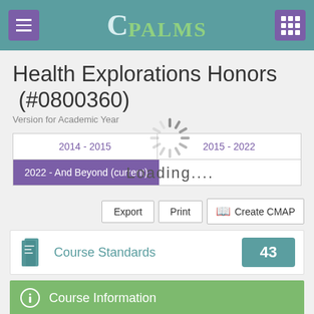CPALMS
Health Explorations Honors (#0800360)
Version for Academic Year
2014 - 2015 | 2015 - 2022 | 2022 - And Beyond (current)
Loading....
Export | Print | Create CMAP
Course Standards 43
Course Information